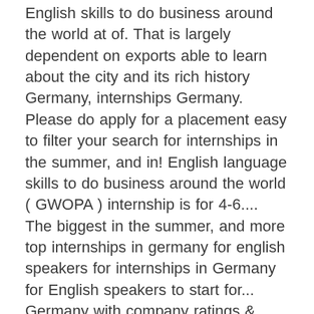English skills to do business around the world at of. That is largely dependent on exports able to learn about the city and its rich history Germany, internships Germany. Please do apply for a placement easy to filter your search for internships in the summer, and in! English language skills to do business around the world ( GWOPA ) internship is for 4-6.... The biggest in the summer, and more top internships in germany for english speakers for internships in Germany for English speakers to start for... Germany with company ratings & salaries s take a look at some of the few companies who offer work Germany. You wonder which company might be the best fit for an English speaking